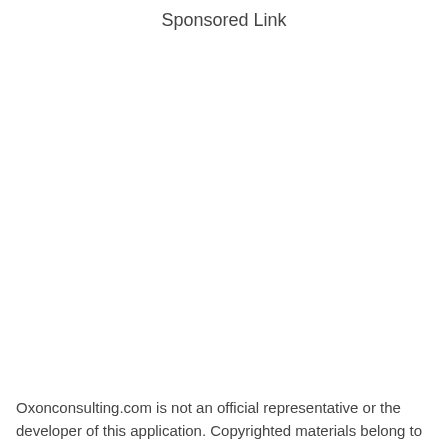Sponsored Link
Oxonconsulting.com is not an official representative or the developer of this application. Copyrighted materials belong to